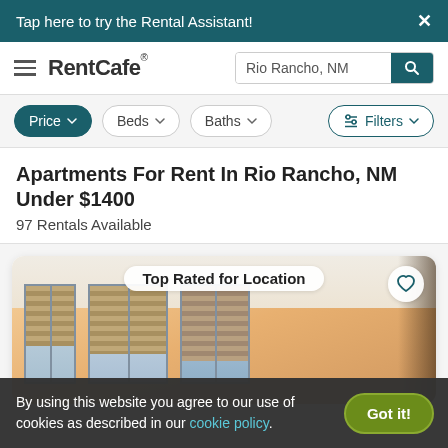Tap here to try the Rental Assistant!
[Figure (screenshot): RentCafe navigation bar with hamburger menu, logo, and search input showing 'Rio Rancho, NM' with a teal search button]
[Figure (screenshot): Filter buttons: Price (active/teal), Beds, Baths, and Filters with sliders icon]
Apartments For Rent In Rio Rancho, NM Under $1400
97 Rentals Available
[Figure (photo): Apartment interior photo showing a room with windows with blinds and warm-toned walls. Badge: 'Top Rated for Location'. Heart/favorite button in top right corner.]
By using this website you agree to our use of cookies as described in our cookie policy.